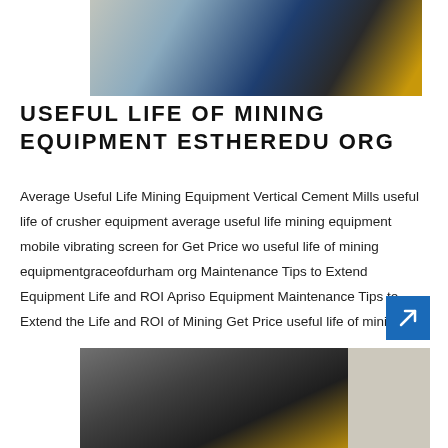[Figure (photo): Industrial mining equipment — blue cylindrical machinery in a workshop setting]
USEFUL LIFE OF MINING EQUIPMENT ESTHEREDU ORG
Average Useful Life Mining Equipment Vertical Cement Mills useful life of crusher equipment average useful life mining equipment mobile vibrating screen for Get Price wo useful life of mining equipmentgraceofdurham org Maintenance Tips to Extend Equipment Life and ROI Apriso Equipment Maintenance Tips to Extend the Life and ROI of Mining Get Price useful life of mining ...
[Figure (photo): Close-up of dark industrial mining equipment component, possibly a crusher or feeder, with gold/yellow mechanical parts visible]